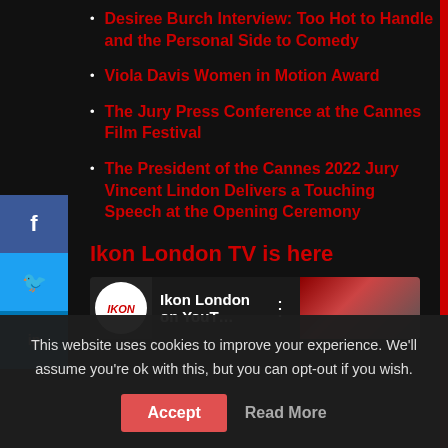Desiree Burch Interview: Too Hot to Handle and the Personal Side to Comedy
Viola Davis Women in Motion Award
The Jury Press Conference at the Cannes Film Festival
The President of the Cannes 2022 Jury Vincent Lindon Delivers a Touching Speech at the Opening Ceremony
Ikon London TV is here
[Figure (screenshot): Ikon London YouTube channel embed showing logo and channel name 'Ikon London on YouT...']
This website uses cookies to improve your experience. We'll assume you're ok with this, but you can opt-out if you wish.
Accept  Read More